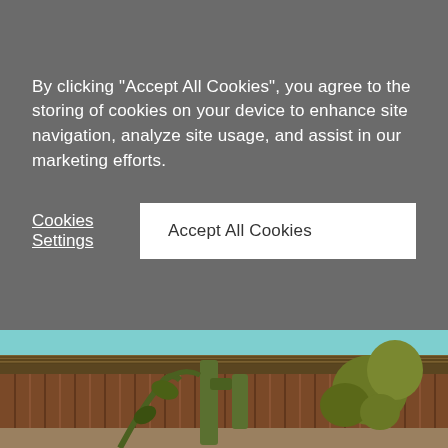By clicking "Accept All Cookies", you agree to the storing of cookies on your device to enhance site navigation, analyze site usage, and assist in our marketing efforts.
Cookies Settings
Accept All Cookies
[Figure (photo): Outdoor photo of a rustic building with wooden slat walls and a thatched/natural roof, with large cacti in the foreground and a clear blue sky above. Desert or arid landscape setting.]